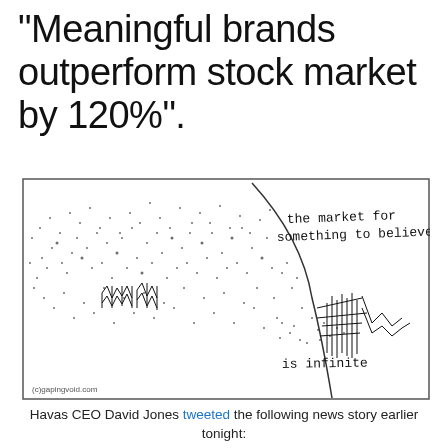"Meaningful brands outperform stock market by 120%".
[Figure (illustration): Gapingvoid cartoon illustration showing a scatter of dots and chaotic lines representing a busy market, with a curve separating it from a calmer area. Text reads 'the market for something to believe in' in the upper right and 'is infinite' in the lower right. Attribution: (c)gapingvoid.com]
Havas CEO David Jones tweeted the following news story earlier tonight: